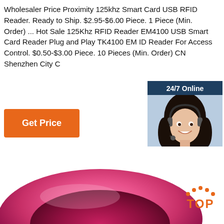Wholesaler Price Proximity 125khz Smart Card USB RFID Reader. Ready to Ship. $2.95-$6.00 Piece. 1 Piece (Min. Order) ... Hot Sale 125Khz RFID Reader EM4100 USB Smart Card Reader Plug and Play TK4100 EM ID Reader For Access Control. $0.50-$3.00 Piece. 10 Pieces (Min. Order) CN Shenzhen City C
[Figure (other): Orange 'Get Price' button]
[Figure (infographic): 24/7 Online live chat widget with photo of woman with headset, 'Click here for free chat!' text and orange QUOTATION button]
[Figure (photo): Pink silicone RFID wristband viewed from above showing inner curved surface, with orange TOP badge in lower right corner]